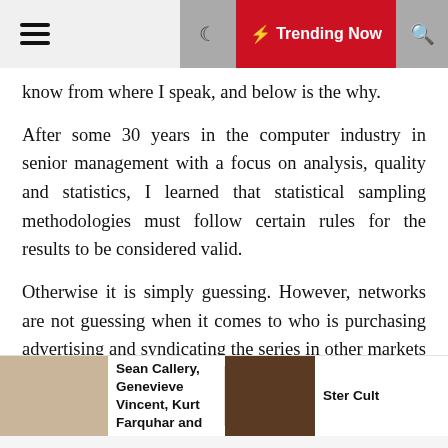☰ ☾ ⚡ Trending Now 🔍
know from where I speak, and below is the why.
After some 30 years in the computer industry in senior management with a focus on analysis, quality and statistics, I learned that statistical sampling methodologies must follow certain rules for the results to be considered valid.
Otherwise it is simply guessing. However, networks are not guessing when it comes to who is purchasing advertising and syndicating the series in other markets around the world. Such is the life blood of a network in being able to continue to produce a television series like Fringe.
The Music In Sean Callery, Genevieve Vincent, Kurt Farquhar and Matthe...
Ster Cult